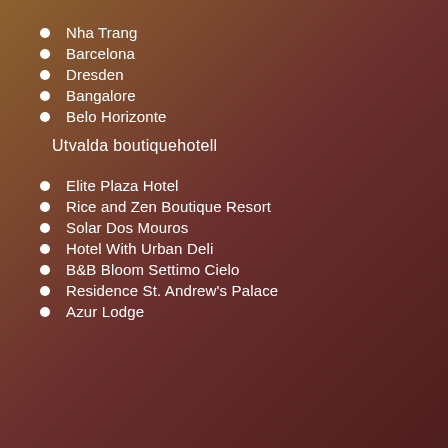Nha Trang
Barcelona
Dresden
Bangalore
Belo Horizonte
Utvalda boutiquehotell
Elite Plaza Hotel
Rice and Zen Boutique Resort
Solar Dos Mouros
Hotel With Urban Deli
B&B Bloom Settimo Cielo
Residence St. Andrew's Palace
Azur Lodge